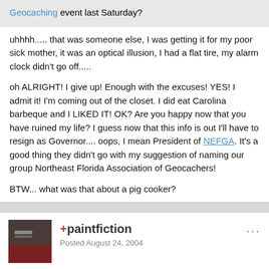Geocaching event last Saturday?
uhhhh..... that was someone else, I was getting it for my poor sick mother, it was an optical illusion, I had a flat tire, my alarm clock didn't go off.....
oh ALRIGHT! I give up! Enough with the excuses! YES! I admit it! I'm coming out of the closet. I did eat Carolina barbeque and I LIKED IT! OK? Are you happy now that you have ruined my life? I guess now that this info is out I'll have to resign as Governor.... oops, I mean President of NEFGA. It's a good thing they didn't go with my suggestion of naming our group Northeast Florida Association of Geocachers!
BTW... what was that about a pig cooker?
+paintfiction
Posted August 24, 2004
Road Rabbit said: